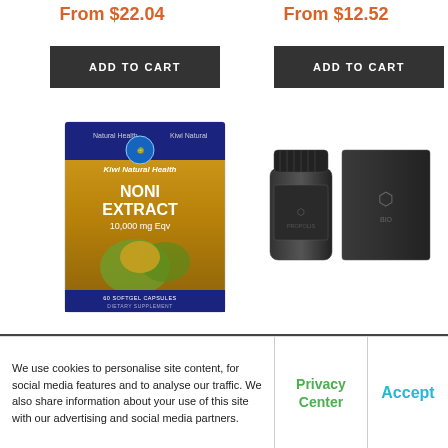From $22.04
From $12.52
[Figure (screenshot): ADD TO CART button left, dark grey background]
[Figure (screenshot): ADD TO CART button right, dark grey background]
[Figure (photo): Kiwi Natural Health Noni Extract 10,000mg supplement box with capsules and noni fruit]
[Figure (photo): Manuka South Black Reserve Propolis 6000 dark bottle and black box packaging]
Kiwi Natural Health Noni Extract 10,000mg 60V...
Manuka South Black Reserve Propolis 6000...
We use cookies to personalise site content, for social media features and to analyse our traffic. We also share information about your use of this site with our advertising and social media partners.
Privacy Center
Accept